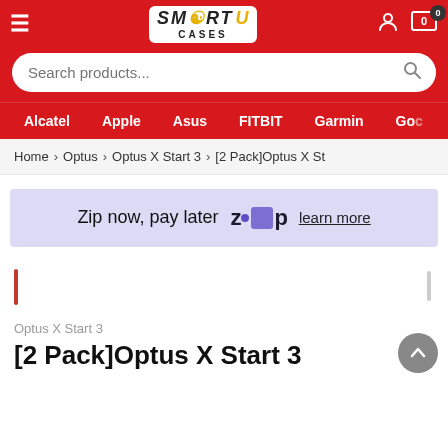[Figure (screenshot): Smart Cases logo in white box on red header]
Search products...
Alcatel  Apple  Asus  FITBIT  Garmin  Go...
Home > Optus > Optus X Start 3 > [2 Pack]Optus X St...
Zip now, pay later zip learn more
Optus X Start 3
[2 Pack]Optus X Start 3